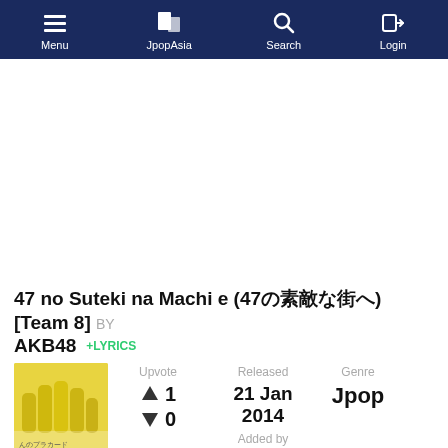Menu | JpopAsia | Search | Login
[Figure (screenshot): Advertisement area (blank white space)]
47 no Suteki na Machi e (47の素敵な街へ) [Team 8] BY AKB48 +LYRICS
[Figure (photo): Album cover for 47 no Suteki na Machi e - yellow themed with group photo of girls in yellow outfits]
Upvote ▲ 1 ▼ 0
Released 21 Jan 2014 Added by weebllikespie
Genre Jpop